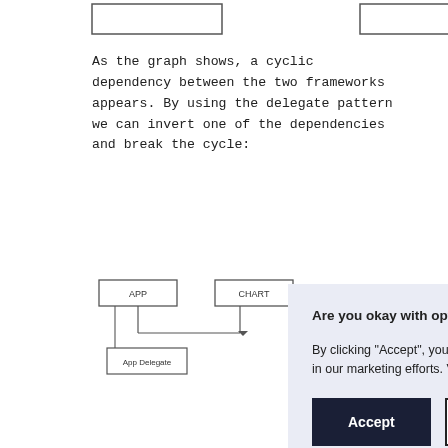[Figure (engineering-diagram): Two partially visible rectangular boxes at the top of the page, representing framework nodes in a dependency graph (cut off at top).]
As the graph shows, a cyclic dependency between the two frameworks appears. By using the delegate pattern we can invert one of the dependencies and break the cycle:
[Figure (engineering-diagram): Diagram showing App and Chart framework boxes with App Delegate component. Partially visible due to cookie overlay.]
[Figure (screenshot): Cookie consent dialog overlaying the page. Title: 'Are you okay with optional cookies?' Body: 'By clicking "Accept", you agree to the storing of cookies on your device to enhance site navigation, analyze site usage, and assist in our marketing efforts. View our Privacy Policy for more information.' Two buttons: Accept (dark) and Decline (outlined).]
/* Char
public
...
func sh
     del
}
/* AppDelegate.swift */